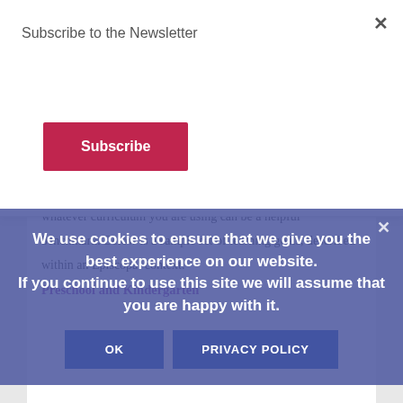Subscribe to the Newsletter
Subscribe
Many churches seek to create learning goals for age levels in their Christian education classes. Not all children of a similar age are academically or socially on the same level, but having a general sense of what can be an extra focus in addition to whatever curriculum you are using can be a helpful benchmark. Below is a sample set of learning goals, described within an Episcopal context.
We use cookies to ensure that we give you the best experience on our website. If you continue to use this site we will assume that you are happy with it.
OK
PRIVACY POLICY
Preschool and Kindergarten